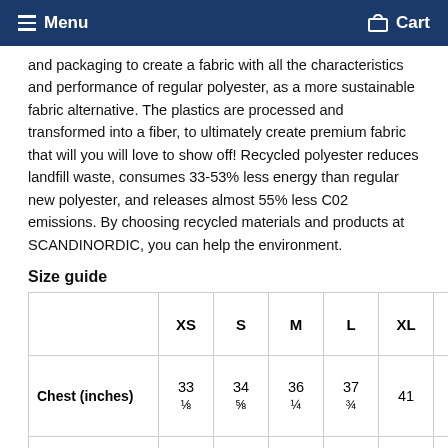Menu  Cart
and packaging to create a fabric with all the characteristics and performance of regular polyester, as a more sustainable fabric alternative. The plastics are processed and transformed into a fiber, to ultimately create premium fabric that will you will love to show off! Recycled polyester reduces landfill waste, consumes 33-53% less energy than regular new polyester, and releases almost 55% less C02 emissions. By choosing recycled materials and products at SCANDINORDIC, you can help the environment.
Size guide
|  | XS | S | M | L | XL | 2X |
| --- | --- | --- | --- | --- | --- | --- |
| Chest (inches) | 33 ⅛ | 34 ⅝ | 36 ¼ | 37 ¾ | 41 | 4 ½ |
|  | 35 | 36 | 38 | 39 |  |